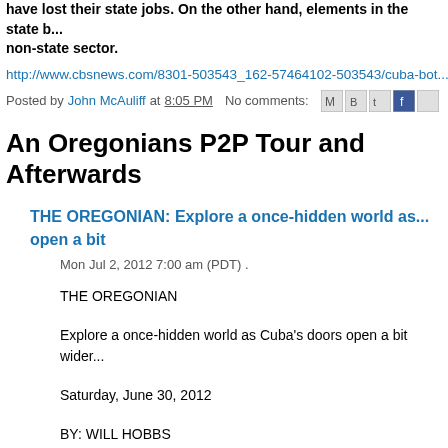have lost their state jobs. On the other hand, elements in the state b... non-state sector.
http://www.cbsnews.com/8301-503543_162-57464102-503543/cuba-bot...
Posted by John McAuliff at 8:05 PM   No comments:
An Oregonians P2P Tour and Afterwards
THE OREGONIAN: Explore a once-hidden world as... open a bit
Mon Jul 2, 2012 7:00 am (PDT) .
THE OREGONIAN
Explore a once-hidden world as Cuba's doors open a bit wider...
Saturday, June 30, 2012
BY: WILL HOBBS
"Why you from?" the middle-aged gentleman asked in broken E... best Spanish accents. "Oregon," he repeated. "Salem is capita...